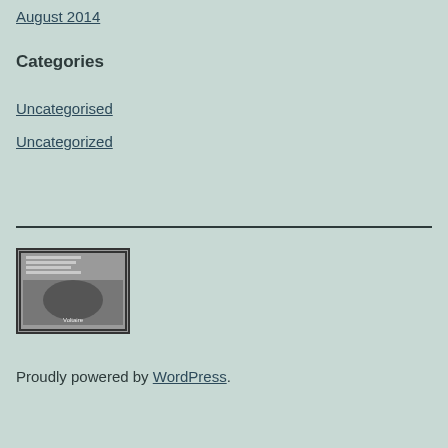August 2014
Categories
Uncategorised
Uncategorized
[Figure (photo): Black and white image with a quote about learning who rules over you, featuring a handshake or crowd image]
Proudly powered by WordPress.